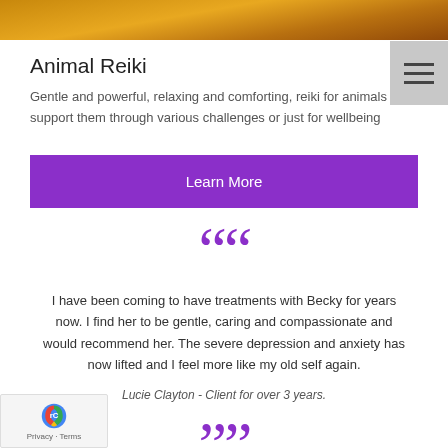[Figure (photo): Partial photo of an animal (possibly elephant) with warm orange/golden background lighting, cropped at top of page]
Animal Reiki
Gentle and powerful, relaxing and comforting, reiki for animals can support them through various challenges or just for wellbeing
Learn More
““
I have been coming to have treatments with Becky for years now. I find her to be gentle, caring and compassionate and would recommend her. The severe depression and anxiety has now lifted and I feel more like my old self again.
Lucie Clayton - Client for over 3 years.
””
[Figure (logo): reCAPTCHA badge with Google logo in bottom left corner, with text Privacy - Terms]